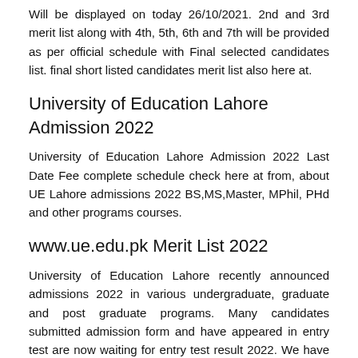Will be displayed on today 26/10/2021. 2nd and 3rd merit list along with 4th, 5th, 6th and 7th will be provided as per official schedule with Final selected candidates list. final short listed candidates merit list also here at.
University of Education Lahore Admission 2022
University of Education Lahore Admission 2022 Last Date Fee complete schedule check here at from, about UE Lahore admissions 2022 BS,MS,Master, MPhil, PHd and other programs courses.
www.ue.edu.pk Merit List 2022
University of Education Lahore recently announced admissions 2022 in various undergraduate, graduate and post graduate programs. Many candidates submitted admission form and have appeared in entry test are now waiting for entry test result 2022. We have University Of Education Township Lahore 1st, 2nd, 3rd, 4th, 5th, 6th,